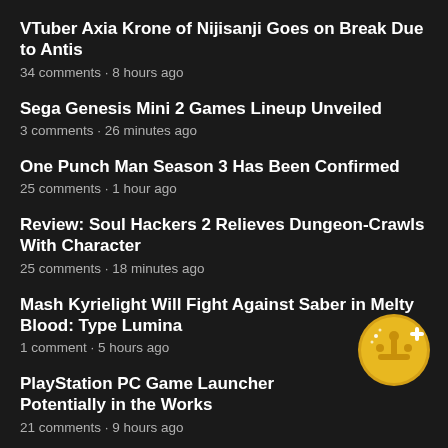VTuber Axia Krone of Nijisanji Goes on Break Due to Antis
34 comments · 8 hours ago
Sega Genesis Mini 2 Games Lineup Unveiled
3 comments · 26 minutes ago
One Punch Man Season 3 Has Been Confirmed
25 comments · 1 hour ago
Review: Soul Hackers 2 Relieves Dungeon-Crawls With Character
25 comments · 18 minutes ago
Mash Kyrielight Will Fight Against Saber in Melty Blood: Type Lumina
1 comment · 5 hours ago
PlayStation PC Game Launcher Potentially in the Works
21 comments · 9 hours ago
[Figure (illustration): Golden circular badge with joystick/controller icon and a plus symbol]
Valve Steam Guidelines Ban Review Scores on Store Banners
21 comments · 6 hours ago